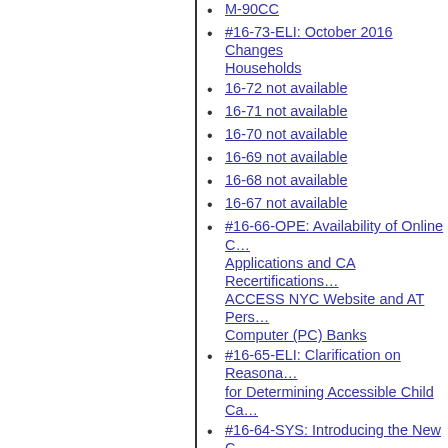M-90CC
#16-73-ELI: October 2016 Changes Households
16-72 not available
16-71 not available
16-70 not available
16-69 not available
16-68 not available
16-67 not available
#16-66-OPE: Availability of Online C… Applications and CA Recertifications… ACCESS NYC Website and AT Pers… Computer (PC) Banks
#16-65-ELI: Clarification on Reasona… for Determining Accessible Child Ca…
#16-64-SYS: Introducing the New C… (Common Benefit Identification Card…
#16-63-SYS: Centralized Indexing U…
#16-62-OPE: Introduction of the Im… to Individuals Who Used HRA Docu… for the Supplemental Nutrition Assis… Program (SNAP) (FIA-1094Y)
#16-61-OPE: Revision to the Notice … Documentation Required Change in … Circumstances Form (W-132S)
#16-60-OPE: Information Verificatio… (IVS) Computer Match Processing D…
#16-59-OPE: Revised Maximum Chi… Market Rates Form (W-667F)
#16-58-SYS: New Printing Options f…